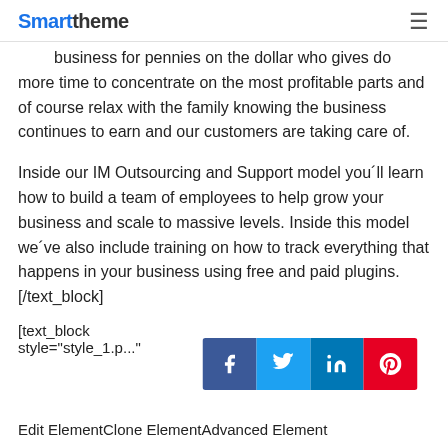Smarttheme
business for pennies on the dollar who gives do more time to concentrate on the most profitable parts and of course relax with the family knowing the business continues to earn and our customers are taking care of.
Inside our IM Outsourcing and Support model you´ll learn how to build a team of employees to help grow your business and scale to massive levels. Inside this model we´ve also include training on how to track everything that happens in your business using free and paid plugins. [/text_block]
[text_block
style="style_1.p..."
[Figure (other): Social share bar with Facebook, Twitter, LinkedIn, and Pinterest buttons]
Edit ElementClone ElementAdvanced Element